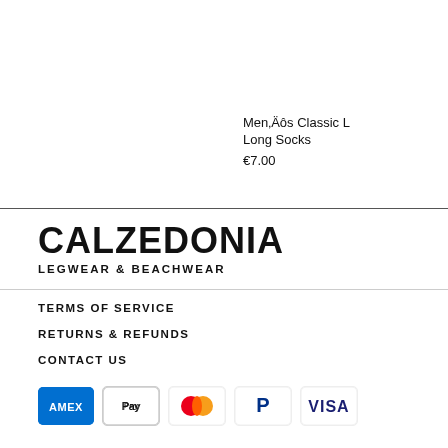MenÄôs Classic L Long Socks
€7.00
[Figure (logo): Calzedonia Legwear & Beachwear logo with bold black text]
TERMS OF SERVICE
RETURNS & REFUNDS
CONTACT US
[Figure (other): Payment icons: American Express, Apple Pay, Mastercard, PayPal, Visa]